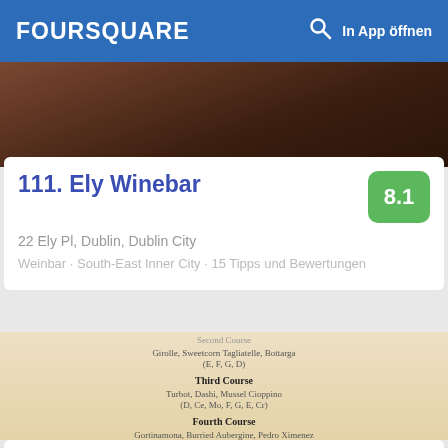FOURSQUARE  In App öffnen
[Figure (photo): Dark reddish-brown textured background photo, likely interior of a bar/restaurant]
111. Ely Winebar
22 Ely Pl, Dublin, Dublin City
Weinbar · South-East Inner City · 15 Tipps und Bewertungen
[Figure (photo): Photo of a restaurant menu showing Second Course (Girolle, Sweetcorn Tagliatelle, Bottarga, E,F,G,D), Third Course (Turbot, Dashi, Mussel Cioppino, D,Ce,Mo,F,G,E,Cr), Fourth Course (Gortinamona, Burried Aubergine, Pedro Ximenez)]
112. Delahunt
39 Camden St Lwr (Saint Kevin's), Dublin, Dublin